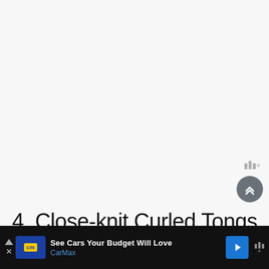[Figure (screenshot): Light gray blank area — top portion of a web page with no visible content]
4. Close-knit Curled Tongs
[Figure (screenshot): Advertisement bar at the bottom: CarMax ad — See Cars Your Budget Will Love, with CarMax logo, blue navigation arrow icon, and Waze-style watermark logo on dark background]